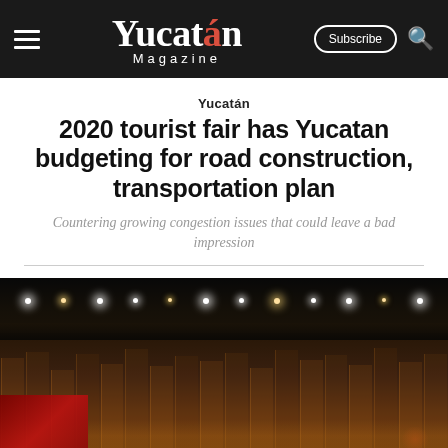Yucatán Magazine — Subscribe | Search
Yucatán
2020 tourist fair has Yucatan budgeting for road construction, transportation plan
Countering growing congestion issues that could leave a bad impression
[Figure (photo): Night photograph of a building exterior, likely a convention center or fair venue in Yucatan, with warm amber and orange lighting illuminating a multi-level facade with vertical architectural elements. String lights visible in the background skyline. Red accent lighting visible at lower left.]